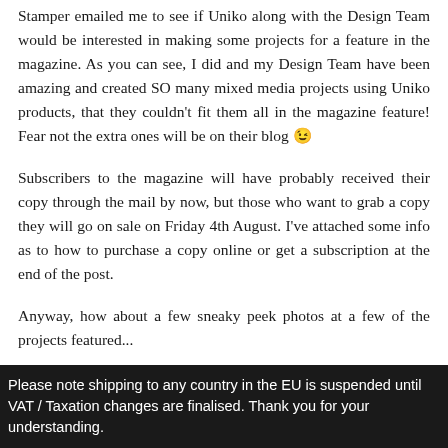Stamper emailed me to see if Uniko along with the Design Team would be interested in making some projects for a feature in the magazine. As you can see, I did and my Design Team have been amazing and created SO many mixed media projects using Uniko products, that they couldn't fit them all in the magazine feature! Fear not the extra ones will be on their blog 😉
Subscribers to the magazine will have probably received their copy through the mail by now, but those who want to grab a copy they will go on sale on Friday 4th August. I've attached some info as to how to purchase a copy online or get a subscription at the end of the post.
Anyway, how about a few sneaky peek photos at a few of the projects featured...
Please note shipping to any country in the EU is suspended until VAT / Taxation changes are finalised. Thank you for your understanding.